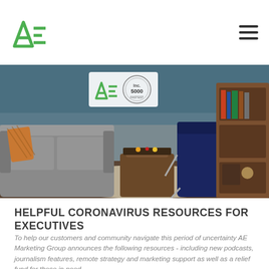AE Marketing Group — Navigation bar with logo and hamburger menu
[Figure (photo): Interior design studio/lounge setting with grey sofa, orange pillow, navy blue chair, wooden coffee table with tray, bookshelf/cabinet on right. AE Marketing Group and Inc. 5000 logos overlaid at top center.]
HELPFUL CORONAVIRUS RESOURCES FOR EXECUTIVES
To help our customers and community navigate this period of uncertainty AE Marketing Group announces the following resources - including new podcasts, journalism features, remote strategy and marketing support as well as a relief fund for those in need.